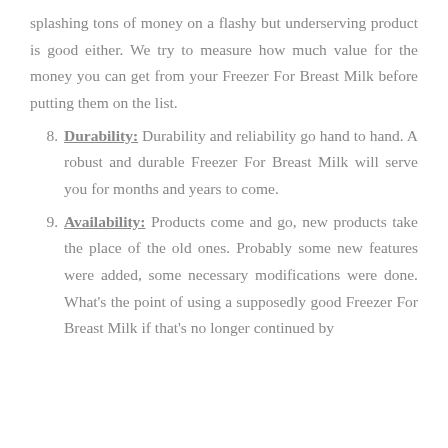splashing tons of money on a flashy but underserving product is good either. We try to measure how much value for the money you can get from your Freezer For Breast Milk before putting them on the list.
8. Durability: Durability and reliability go hand to hand. A robust and durable Freezer For Breast Milk will serve you for months and years to come.
9. Availability: Products come and go, new products take the place of the old ones. Probably some new features were added, some necessary modifications were done. What's the point of using a supposedly good Freezer For Breast Milk if that's no longer continued by